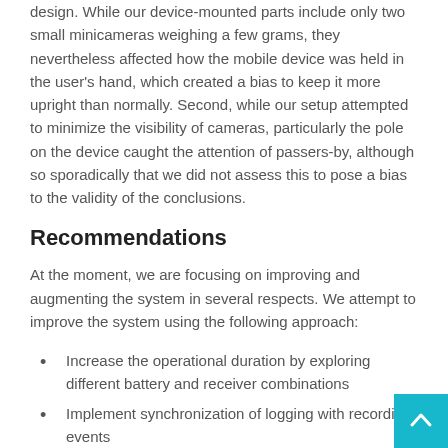design. While our device-mounted parts include only two small minicameras weighing a few grams, they nevertheless affected how the mobile device was held in the user's hand, which created a bias to keep it more upright than normally. Second, while our setup attempted to minimize the visibility of cameras, particularly the pole on the device caught the attention of passers-by, although so sporadically that we did not assess this to pose a bias to the validity of the conclusions.
Recommendations
At the moment, we are focusing on improving and augmenting the system in several respects. We attempt to improve the system using the following approach:
Increase the operational duration by exploring different battery and receiver combinations
Implement synchronization of logging with recording events
Improve technical reliability of the